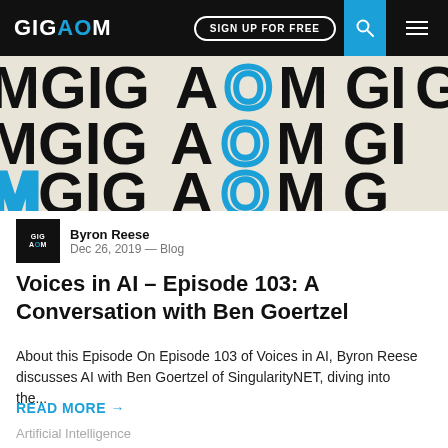GIGAOM | SIGN UP FOR FREE
[Figure (photo): Repeating GIGAOM logo pattern on off-white background with black bold text and blue O letters]
Byron Reese
Dec 26, 2019 — Blog
Voices in AI – Episode 103: A Conversation with Ben Goertzel
About this Episode On Episode 103 of Voices in AI, Byron Reese discusses AI with Ben Goertzel of SingularityNET, diving into the...
READ MORE →
Artificial Intelligence